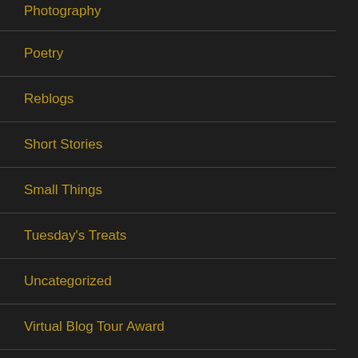Photography
Poetry
Reblogs
Short Stories
Small Things
Tuesday's Treats
Uncategorized
Virtual Blog Tour Award
Wednesday Ode